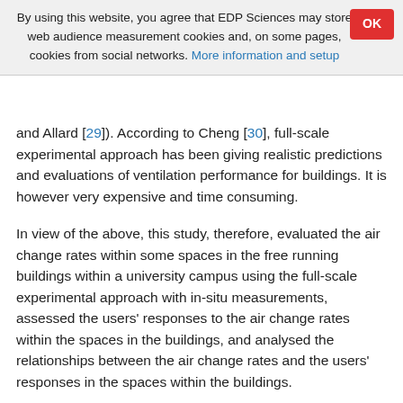By using this website, you agree that EDP Sciences may store web audience measurement cookies and, on some pages, cookies from social networks. More information and setup
and Allard [29]). According to Cheng [30], full-scale experimental approach has been giving realistic predictions and evaluations of ventilation performance for buildings. It is however very expensive and time consuming.
In view of the above, this study, therefore, evaluated the air change rates within some spaces in the free running buildings within a university campus using the full-scale experimental approach with in-situ measurements, assessed the users' responses to the air change rates within the spaces in the buildings, and analysed the relationships between the air change rates and the users' responses in the spaces within the buildings.